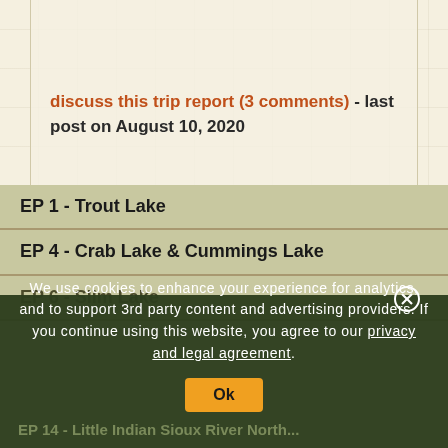discuss this trip report (3 comments) - last post on August 10, 2020
EP 1 - Trout Lake
EP 4 - Crab Lake & Cummings Lake
EP 6 - Slim Lake
We use cookies to enhance your experience for analytics, and to support 3rd party content and advertising providers. If you continue using this website, you agree to our privacy and legal agreement.